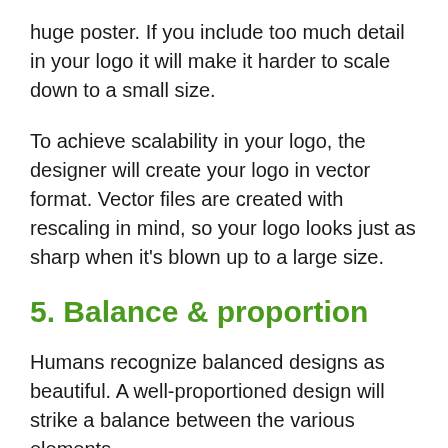huge poster. If you include too much detail in your logo it will make it harder to scale down to a small size.
To achieve scalability in your logo, the designer will create your logo in vector format. Vector files are created with rescaling in mind, so your logo looks just as sharp when it’s blown up to a large size.
5. Balance & proportion
Humans recognize balanced designs as beautiful. A well-proportioned design will strike a balance between the various elements